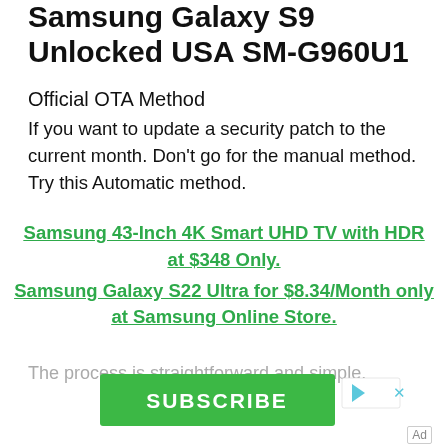Samsung Galaxy S9 Unlocked USA SM-G960U1
Official OTA Method
If you want to update a security patch to the current month. Don't go for the manual method. Try this Automatic method.
Samsung 43-Inch 4K Smart UHD TV with HDR at $348 Only.
Samsung Galaxy S22 Ultra for $8.34/Month only at Samsung Online Store.
The process is straightforward and simple.
[Figure (screenshot): Green SUBSCRIBE button advertisement for Bibi and Tina YouTube Channel with ad icons]
Bibi and Tina YouTube Channel
Ad